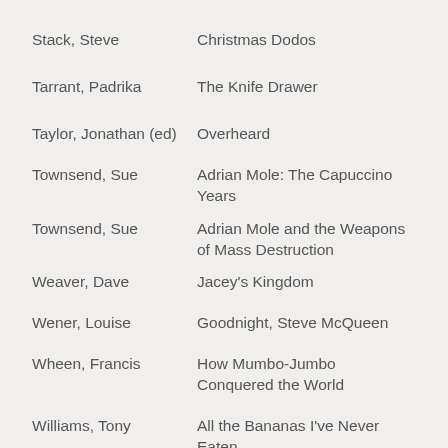Stack, Steve | Christmas Dodos
Tarrant, Padrika | The Knife Drawer
Taylor, Jonathan (ed) | Overheard
Townsend, Sue | Adrian Mole: The Capuccino Years
Townsend, Sue | Adrian Mole and the Weapons of Mass Destruction
Weaver, Dave | Jacey's Kingdom
Wener, Louise | Goodnight, Steve McQueen
Wheen, Francis | How Mumbo-Jumbo Conquered the World
Williams, Tony | All the Bananas I've Never Eaten